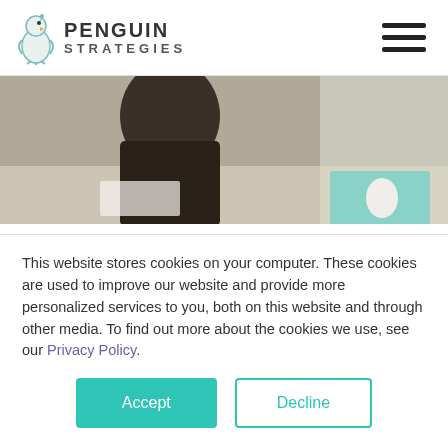[Figure (logo): Penguin Strategies logo with penguin graphic and company name]
[Figure (photo): Photo of people working at a desk with Apple laptop and papers]
Penguin Strategies' Chief Strategist, Shoham Eckhaus, recently sat down with B2B Marketer extraordinaire, Rebecca Herson. Few people...
This website stores cookies on your computer. These cookies are used to improve our website and provide more personalized services to you, both on this website and through other media. To find out more about the cookies we use, see our Privacy Policy.